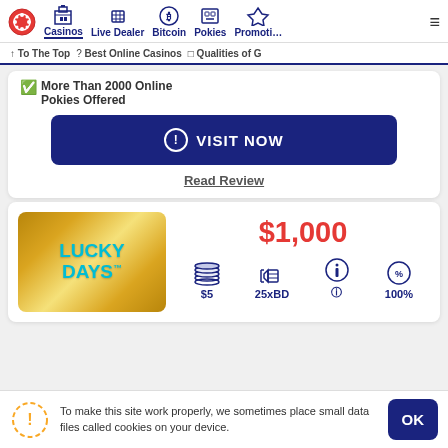Casinos | Live Dealer | Bitcoin | Pokies | Promotions
↑ To The Top ? Best Online Casinos □ Qualities of G
More Than 2000 Online Pokies Offered
VISIT NOW
Read Review
$1,000
[Figure (logo): Lucky Days casino logo — gold gradient background with teal LUCKY DAYS text]
$5  25xBD  ⓘ  100%
To make this site work properly, we sometimes place small data files called cookies on your device.